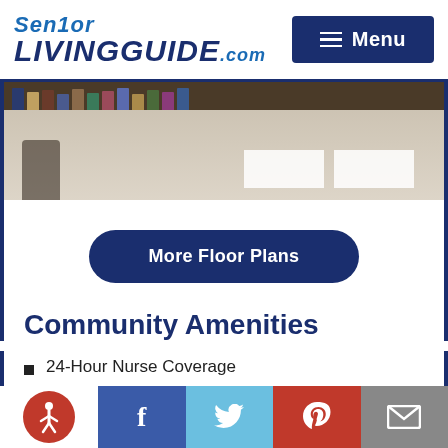Senior LIVINGGUIDE.com | Menu
[Figure (photo): Interior room photo showing bookshelves at top and white furniture pieces, with a dark figure on the left side]
More Floor Plans
Community Amenities
24-Hour Nurse Coverage
Activities Director
Accessibility | Facebook | Twitter | Pinterest | Email